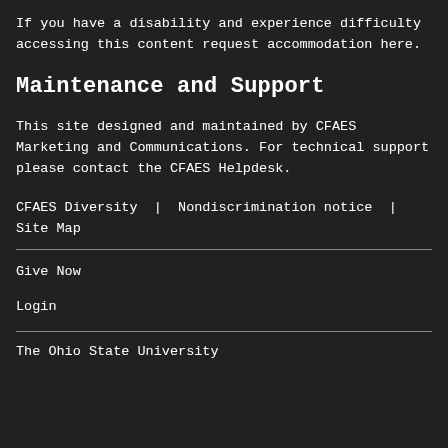If you have a disability and experience difficulty accessing this content request accommodation here.
Maintenance and Support
This site designed and maintained by CFAES Marketing and Communications. For technical support please contact the CFAES Helpdesk.
CFAES Diversity | Nondiscrimination notice | Site Map
Give Now
Login
The Ohio State University